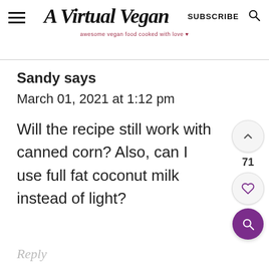A Virtual Vegan — awesome vegan food cooked with love
Sandy says
March 01, 2021 at 1:12 pm
Will the recipe still work with canned corn? Also, can I use full fat coconut milk instead of light?
Reply